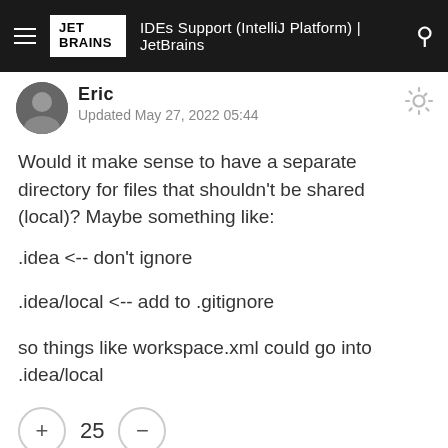IDEs Support (IntelliJ Platform) | JetBrains
Eric
Updated May 27, 2022 05:44
Would it make sense to have a separate directory for files that shouldn't be shared (local)?  Maybe something like:
.idea <-- don't ignore
.idea/local <-- add to .gitignore
so things like workspace.xml could go into .idea/local
+ 25 −